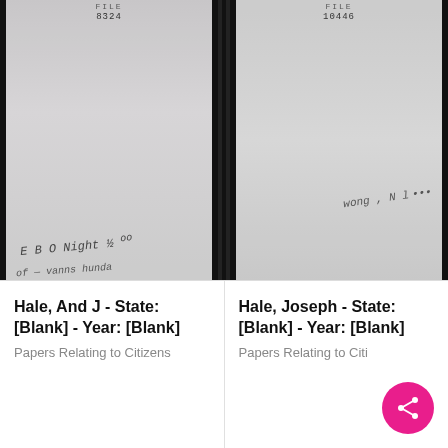[Figure (photo): Scanned historical document page, left side, mostly blank/faded with handwritten text near bottom reading 'E B O N' and partial cursive below. File number 8324 at top.]
[Figure (photo): Scanned historical document page, right side, mostly blank/faded with handwritten cursive signature near bottom right. File number 10446 at top.]
Hale, And J - State: [Blank] - Year: [Blank]
Papers Relating to Citizens
Hale, Joseph - State: [Blank] - Year: [Blank]
Papers Relating to Citi